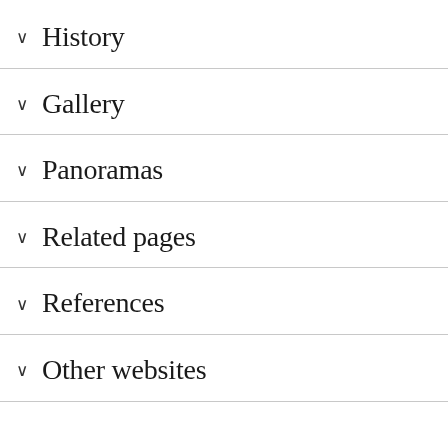History
Gallery
Panoramas
Related pages
References
Other websites